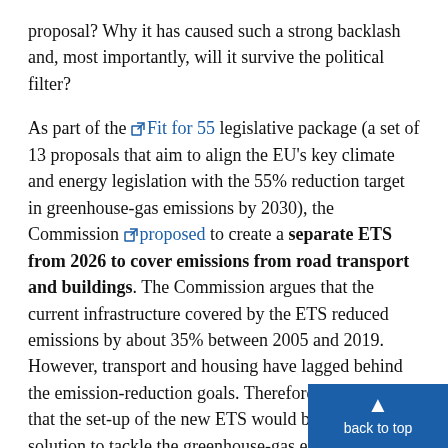proposal? Why it has caused such a strong backlash and, most importantly, will it survive the political filter?
As part of the [link: Fit for 55] legislative package (a set of 13 proposals that aim to align the EU's key climate and energy legislation with the 55% reduction target in greenhouse-gas emissions by 2030), the Commission [link: proposed] to create a separate ETS from 2026 to cover emissions from road transport and buildings. The Commission argues that the current infrastructure covered by the ETS reduced emissions by about 35% between 2005 and 2019. However, transport and housing have lagged behind the emission-reduction goals. Therefore, it considers that the set-up of the new ETS would be an effective solution to tackle the greenhouse-gas emissions in these sectors. According to the Commission's proposal, this self‑standing ETS would focus on fuel distribution and would cover emissions related to fossil‑fuel combustion of heating in